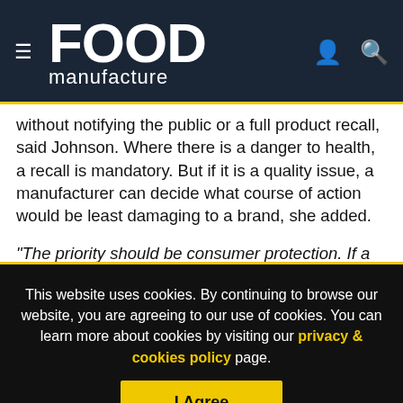FOOD manufacture
without notifying the public or a full product recall, said Johnson. Where there is a danger to health, a recall is mandatory. But if it is a quality issue, a manufacturer can decide what course of action would be least damaging to a brand, she added.
"The priority should be consumer protection. If a company leads with that, the business and brand will be looked after as well," said Shiers.
This website uses cookies. By continuing to browse our website, you are agreeing to our use of cookies. You can learn more about cookies by visiting our privacy & cookies policy page.